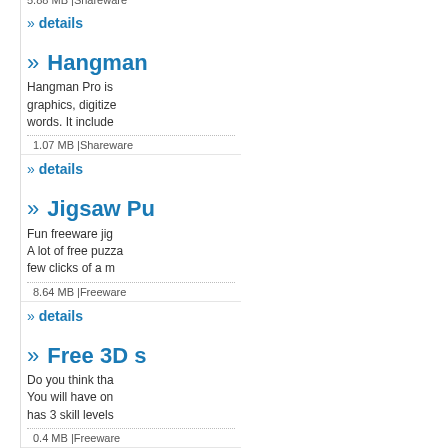5.88 MB |Shareware
» details
» Hangman
Hangman Pro is graphics, digitize words. It include
1.07 MB |Shareware
» details
» Jigsaw Pu
Fun freeware jig A lot of free puzza few clicks of a m
8.64 MB |Freeware
» details
» Free 3D s
Do you think tha You will have on has 3 skill levels
0.4 MB |Freeware
» details